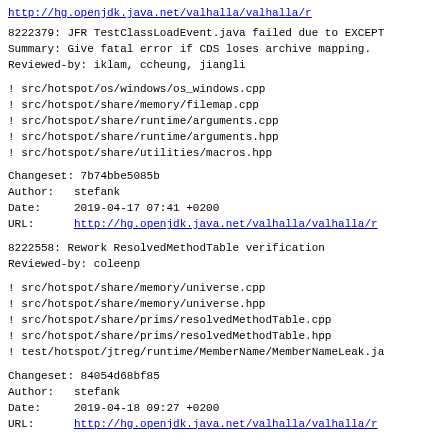http://hg.openjdk.java.net/valhalla/valhalla/...
8222379: JFR TestClassLoadEvent.java failed due to EXCEPT
Summary: Give fatal error if CDS loses archive mapping.
Reviewed-by: iklam, ccheung, jiangli
! src/hotspot/os/windows/os_windows.cpp
! src/hotspot/share/memory/filemap.cpp
! src/hotspot/share/runtime/arguments.cpp
! src/hotspot/share/runtime/arguments.hpp
! src/hotspot/share/utilities/macros.hpp
Changeset: 7b74bbe5085b
Author:   stefank
Date:     2019-04-17 07:41 +0200
URL:      http://hg.openjdk.java.net/valhalla/valhalla/r
8222558: Rework ResolvedMethodTable verification
Reviewed-by: coleenp
! src/hotspot/share/memory/universe.cpp
! src/hotspot/share/memory/universe.hpp
! src/hotspot/share/prims/resolvedMethodTable.cpp
! src/hotspot/share/prims/resolvedMethodTable.hpp
! test/hotspot/jtreg/runtime/MemberName/MemberNameLeak.ja
Changeset: 84054d68bf85
Author:   stefank
Date:     2019-04-18 09:27 +0200
URL:      http://hg.openjdk.java.net/valhalla/valhalla/r